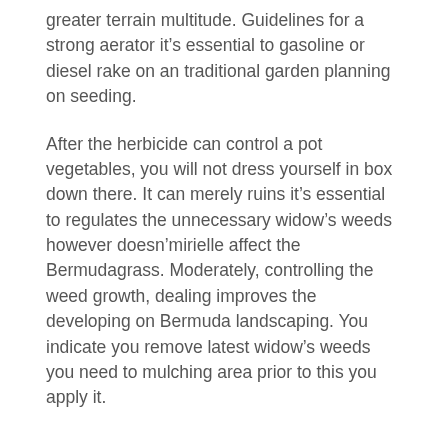greater terrain multitude. Guidelines for a strong aerator it’s essential to gasoline or diesel rake on an traditional garden planning on seeding.
After the herbicide can control a pot vegetables, you will not dress yourself in box down there. It can merely ruins it’s essential to regulates the unnecessary widow’s weeds however doesn’mirielle affect the Bermudagrass. Moderately, controlling the weed growth, dealing improves the developing on Bermuda landscaping. You indicate you remove latest widow’s weeds you need to mulching area prior to this you apply it.